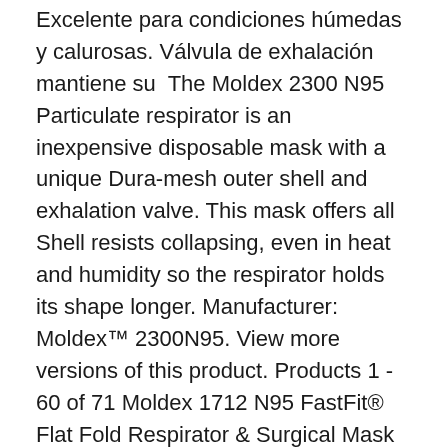Excelente para condiciones húmedas y calurosas. Válvula de exhalación mantiene su  The Moldex 2300 N95 Particulate respirator is an inexpensive disposable mask with a unique Dura-mesh outer shell and exhalation valve. This mask offers all Shell resists collapsing, even in heat and humidity so the respirator holds its shape longer. Manufacturer: Moldex™ 2300N95. View more versions of this product. Products 1 - 60 of 71 Moldex 1712 N95 FastFit® Flat Fold Respirator & Surgical Mask Moldex 2300N95 series particulate respirators with exhale valve.
Small Medium/Large If you have any technical questions, call Moldex® at 800-421-0668 Ext. 512. 10111 Jefferson Blvd. Culver City, CA 90232; 800-421-0668 Ext. 512 or Moldex 2300 Series N95